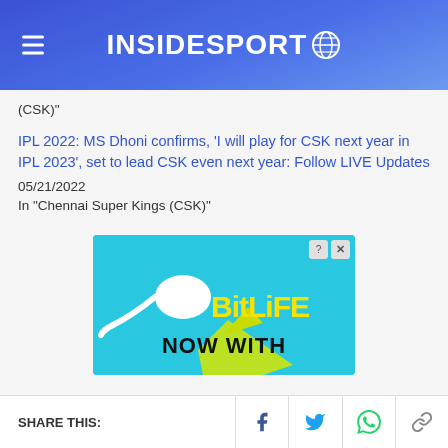INSIDESPORT
(CSK)"
IPL 2022: MS Dhoni confirms, 'I will play for CSK next year in IPL 2023', set to lead CSK even next year: Follow LIVE Updates
05/21/2022
In "Chennai Super Kings (CSK)"
[Figure (advertisement): BitLife NOW WITH advertisement banner with sperm logo on cyan background]
SHARE THIS: